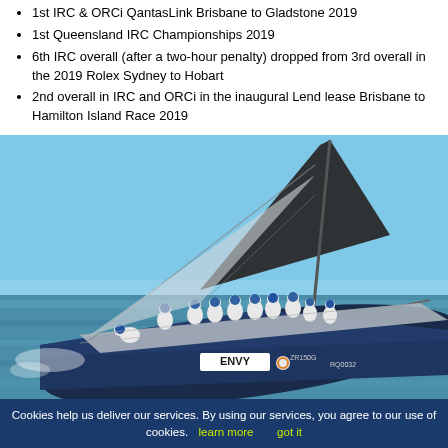1st IRC & ORCi QantasLink Brisbane to Gladstone 2019
1st Queensland IRC Championships 2019
6th IRC overall (after a two-hour penalty) dropped from 3rd overall in the 2019 Rolex Sydney to Hobart
2nd overall in IRC and ORCi in the inaugural Lend lease Brisbane to Hamilton Island Race 2019
[Figure (photo): Racing yacht named ENVY (ZR150G, RQ0032) heeling sharply with a crew of approximately 10 people in white shirts and blue caps on deck, sailing on blue water under a clear sky.]
Cookies help us deliver our services. By using our services, you agree to our use of cookies. learn more   got it